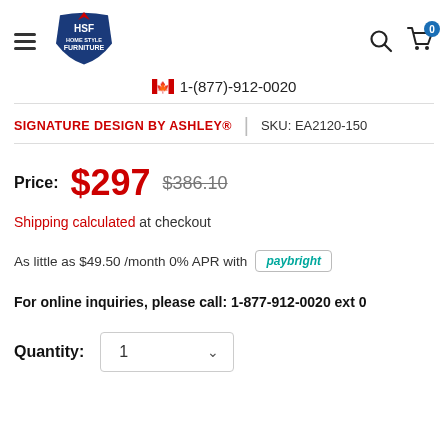[Figure (logo): Home Style Furniture (HSF) logo - blue shield shape with red diamond accent]
🍁 1-(877)-912-0020
SIGNATURE DESIGN BY ASHLEY®   |   SKU: EA2120-150
Price: $297  $386.10
Shipping calculated at checkout
As little as $49.50 /month 0% APR with paybright
For online inquiries, please call: 1-877-912-0020 ext 0
Quantity: 1